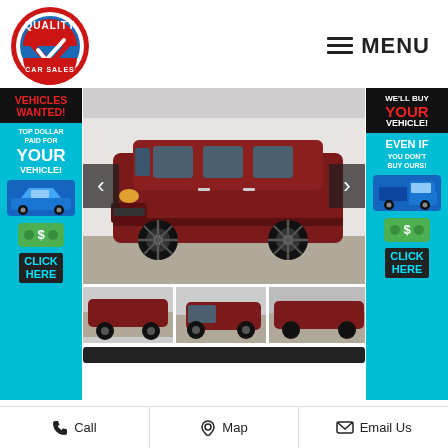[Figure (logo): Quality Car Sales circular logo with red border, blue center, and checkmark]
≡ MENU
[Figure (photo): Red Dodge Grand Caravan minivan, front 3/4 view, parked outdoors]
[Figure (photo): Left side view of red Dodge Grand Caravan]
[Figure (photo): Rear 3/4 view of red minivan]
[Figure (photo): Partial third thumbnail of red minivan]
[Figure (infographic): Left ad banner: VEHICLES WANTED! TOP DOLLAR PAID FOR YOUR VEHICLE! with blue car and money graphic, CLICK HERE]
[Figure (infographic): Right ad banner: WE'LL BUY YOUR VEHICLE! EVEN IF YOU DON'T BUY OURS! with truck and money graphic, CLICK HERE]
Call   Map   Email Us